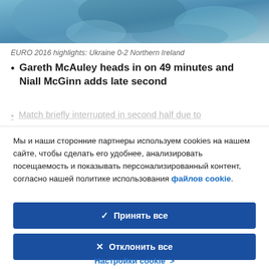[Figure (photo): Blurred/abstract hero image with blue-green teal tones, appears to be a stadium or football match scene]
EURO 2016 highlights: Ukraine 0-2 Northern Ireland
Gareth McAuley heads in on 49 minutes and Niall McGinn adds late second
Match briefly interrupted in second half due to ...
Мы и наши сторонние партнеры используем cookies на нашем сайте, чтобы сделать его удобнее, анализировать посещаемость и показывать персонализированный контент, согласно нашей политике использования файлов cookie.
✓  Принять все
✕  Отклонить все
Настройки cookie  >